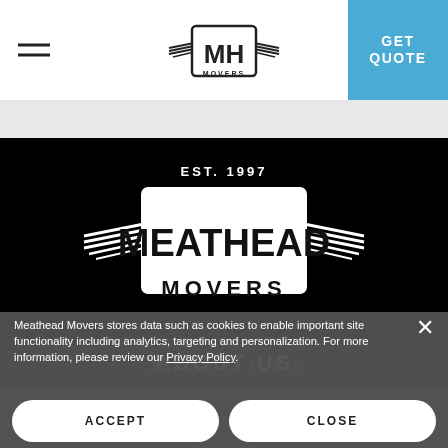MH Movers logo with hamburger menu and GET QUOTE button
[Figure (logo): Meathead Movers winged MH logo in header]
[Figure (logo): Meathead Movers EST. 1997 full logo on black background]
ABOUT US
Meathead Movers stores data such as cookies to enable important site functionality including analytics, targeting and personalization. For more information, please review our Privacy Policy.
ACCEPT
CLOSE